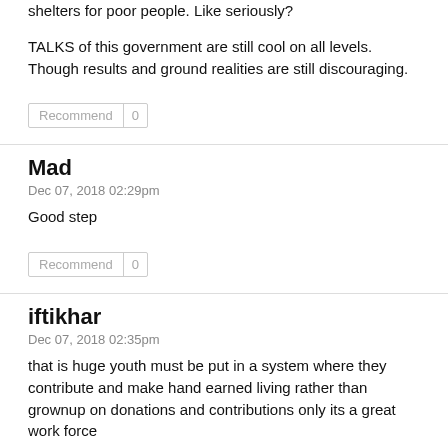shelters for poor people. Like seriously?
TALKS of this government are still cool on all levels. Though results and ground realities are still discouraging.
Recommend 0
Mad
Dec 07, 2018 02:29pm
Good step
Recommend 0
iftikhar
Dec 07, 2018 02:35pm
that is huge youth must be put in a system where they contribute and make hand earned living rather than grownup on donations and contributions only its a great work force
Recommend 0